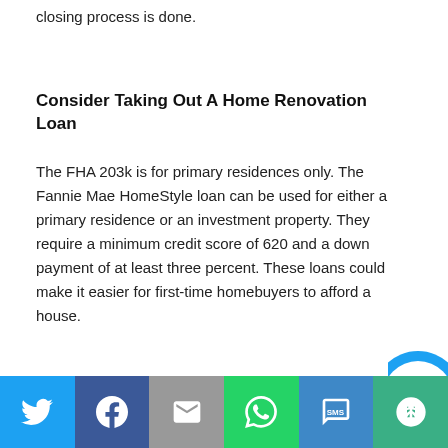closing process is done.
Consider Taking Out A Home Renovation Loan
The FHA 203k is for primary residences only. The Fannie Mae HomeStyle loan can be used for either a primary residence or an investment property. They require a minimum credit score of 620 and a down payment of at least three percent. These loans could make it easier for first-time homebuyers to afford a house.